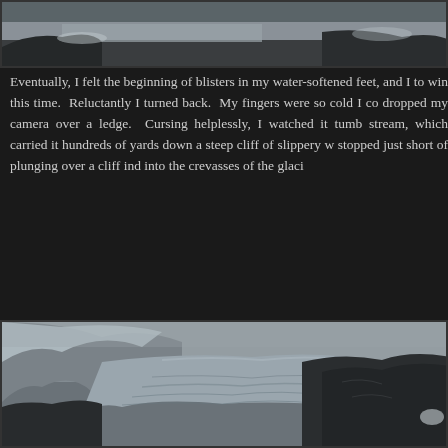[Figure (photo): Partial top portion of a glacier/mountain landscape photo, showing dark rocky terrain and snow/ice at the bottom edge]
Eventually, I felt the beginning of blisters in my water-softened feet, and I to win this time. Reluctantly I turned back. My fingers were so cold I co dropped my camera over a ledge. Cursing helplessly, I watched it tumb stream, which carried it hundreds of yards down a steep cliff of slippery w stopped just short of plunging over a cliff ind into the crevasses of the glaci
[Figure (photo): A glacier flowing between rocky mountain ridges under an overcast sky. The glacier shows crevasses and flow patterns. Dark rocky terrain in the foreground on the right side.]